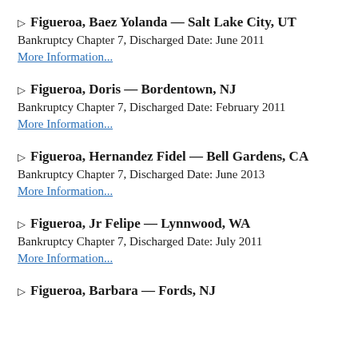▷ Figueroa, Baez Yolanda — Salt Lake City, UT
Bankruptcy Chapter 7, Discharged Date: June 2011
More Information...
▷ Figueroa, Doris — Bordentown, NJ
Bankruptcy Chapter 7, Discharged Date: February 2011
More Information...
▷ Figueroa, Hernandez Fidel — Bell Gardens, CA
Bankruptcy Chapter 7, Discharged Date: June 2013
More Information...
▷ Figueroa, Jr Felipe — Lynnwood, WA
Bankruptcy Chapter 7, Discharged Date: July 2011
More Information...
▷ Figueroa, Barbara — Fords, NJ